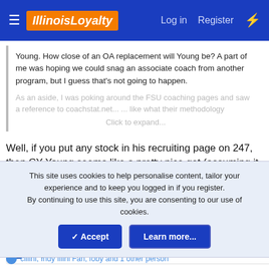IllinoisLoyalty — Log in  Register
Young. How close of an OA replacement will Young be? A part of me was hoping we could snag an associate coach from another program, but I guess that's not going to happen.
As an aside, I was poking around the FSU coaching pages and saw a reference to coachstat.net... Click to expand...
Well, if you put any stock in his recruiting page on 247, then CY Young seems like a pretty nice get (assuming it actually happens). There are a few 5-stars in there. Seems like it's likely
This site uses cookies to help personalise content, tailor your experience and to keep you logged in if you register.
By continuing to use this site, you are consenting to our use of cookies.
Charlton Young All Time Recruits
247sports.com
cillini, Indy Illini Fan, foby and 1 other person